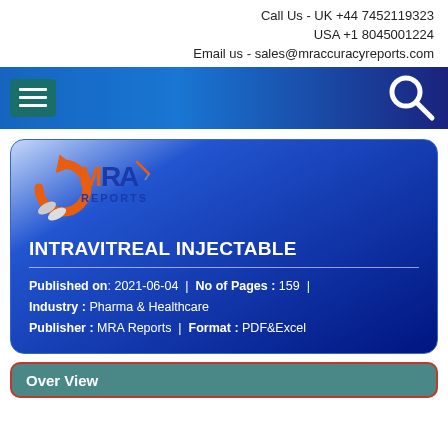Call Us - UK +44 7452119323
USA +1 8045001224
Email us - sales@mraccuracyreports.com
[Figure (screenshot): Navigation bar with hamburger menu icon on left and search icon on right, blue gradient background]
[Figure (logo): MRA Reports logo with orange circular arrow and blue MRA text with pills]
INTRAVITREAL INJECTABLE
Published on: 2021-06-04 | No of Pages : 159 | Industry : Pharma & Healthcare | Publisher : MRA Reports | Format : PDF&Excel
Over View